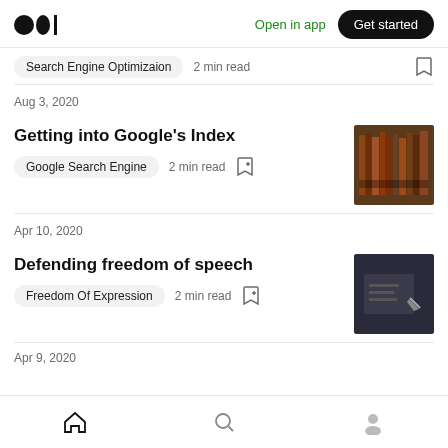Medium logo | Open in app | Get started
Search Engine Optimizaion  2 min read
Aug 3, 2020
Getting into Google's Index
Google Search Engine  2 min read
Apr 10, 2020
Defending freedom of speech
Freedom Of Expression  2 min read
Apr 9, 2020
Home | Search | Profile